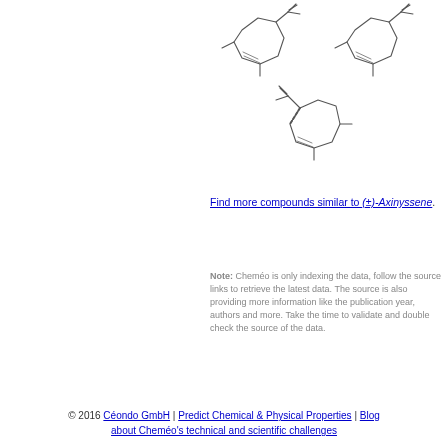[Figure (illustration): Chemical structure diagrams of (±)-Axinyssene molecules — two structures in top row and one centered below, showing cyclodecane rings with methyl and isopropenyl substituents rendered as skeletal structural formulas.]
Find more compounds similar to (±)-Axinyssene.
Note: Cheméo is only indexing the data, follow the source links to retrieve the latest data. The source is also providing more information like the publication year, authors and more. Take the time to validate and double check the source of the data.
© 2016 Céondo GmbH | Predict Chemical & Physical Properties | Blog about Cheméo's technical and scientific challenges